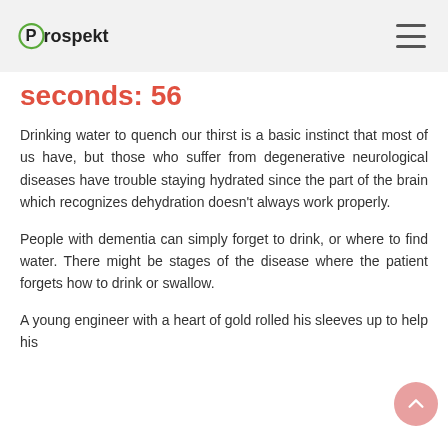Prospekt
seconds: 56
Drinking water to quench our thirst is a basic instinct that most of us have, but those who suffer from degenerative neurological diseases have trouble staying hydrated since the part of the brain which recognizes dehydration doesn't always work properly.
People with dementia can simply forget to drink, or where to find water. There might be stages of the disease where the patient forgets how to drink or swallow.
A young engineer with a heart of gold rolled his sleeves up to help his